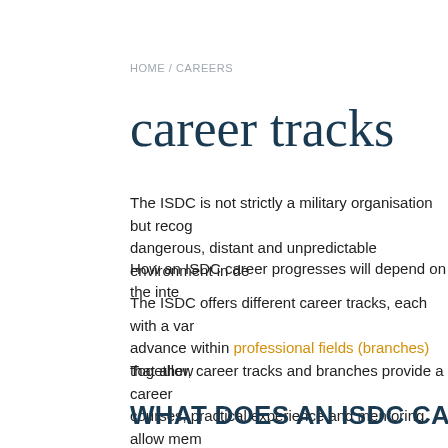HOME / CAREERS
career tracks
The ISDC is not strictly a military organisation but recog dangerous, distant and unpredictable environment in de
How an ISDC career progresses will depend on the inte
The ISDC offers different career tracks, each with a var advance within professional fields (branches) that allow
Together, career tracks and branches provide a career courses, practical experience and mentoring allow mem
WHAT DOES AN ISDC CAREER